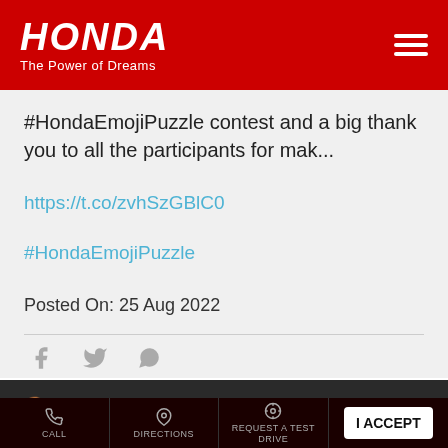[Figure (logo): Honda logo with 'The Power of Dreams' tagline on red background]
#HondaEmojiPuzzle contest and a big thank you to all the participants for mak...
https://t.co/zvhSzGBlC0
#HondaEmojiPuzzle
Posted On: 25 Aug 2022
[Figure (infographic): Social share icons: Facebook, Twitter, WhatsApp]
Cookie Information
We use cookies to improve your experience on our site and to show the relevant content.
CALL | DIRECTIONS | REQUEST A TEST DRIVE | I ACCEPT